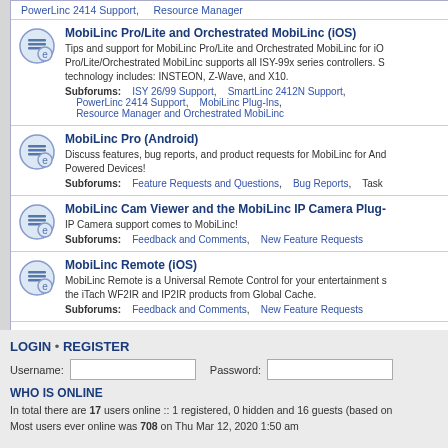PowerLinc 2414 Support,    Resource Manager
MobiLinc Pro/Lite and Orchestrated MobiLinc (iOS)
Tips and support for MobiLinc Pro/Lite and Orchestrated MobiLinc for iOS. MobiLinc Pro/Lite/Orchestrated MobiLinc supports all ISY-99x series controllers. Supported technology includes: INSTEON, Z-Wave, and X10.
Subforums: ISY 26/99 Support, SmartLinc 2412N Support, PowerLinc 2414 Support, MobiLinc Plug-Ins, Resource Manager and Orchestrated MobiLinc
MobiLinc Pro (Android)
Discuss features, bug reports, and product requests for MobiLinc for Android-Powered Devices!
Subforums: Feature Requests and Questions, Bug Reports, Task
MobiLinc Cam Viewer and the MobiLinc IP Camera Plug-
IP Camera support comes to MobiLinc!
Subforums: Feedback and Comments, New Feature Requests
MobiLinc Remote (iOS)
MobiLinc Remote is a Universal Remote Control for your entertainment system using the iTach WF2IR and IP2IR products from Global Cache.
Subforums: Feedback and Comments, New Feature Requests
Deactivated Topics
Topics that are now locked and deactivated.
LOGIN • REGISTER
Username:    Password:
WHO IS ONLINE
In total there are 17 users online :: 1 registered, 0 hidden and 16 guests (based on Most users ever online was 708 on Thu Mar 12, 2020 1:50 am